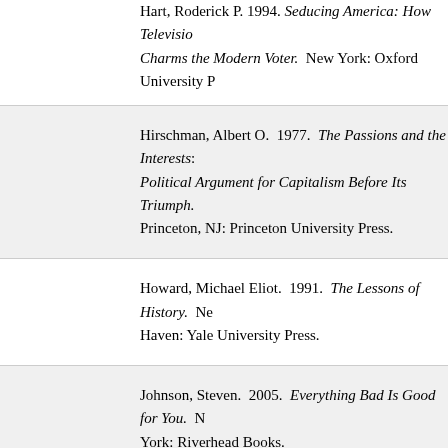Hart, Roderick P. 1994. Seducing America: How Television Charms the Modern Voter. New York: Oxford University P
Hirschman, Albert O. 1977. The Passions and the Interests: Political Argument for Capitalism Before Its Triumph. Princeton, NJ: Princeton University Press.
Howard, Michael Eliot. 1991. The Lessons of History. New Haven: Yale University Press.
Johnson, Steven. 2005. Everything Bad Is Good for You. New York: Riverhead Books.
Jowett, Garth S., and Victoria O'Donnell. 1986. Propaganda and Persuasion. Newbury Park, CA: Sage.